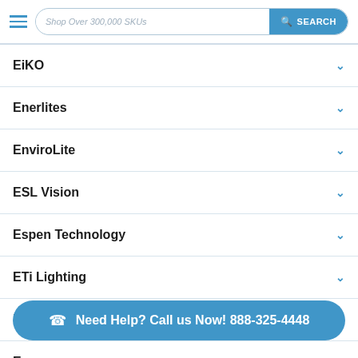[Figure (screenshot): Header with hamburger menu and search bar reading 'Shop Over 300,000 SKUs' with a blue SEARCH button]
EiKO
Enerlites
EnviroLite
ESL Vision
Espen Technology
ETi Lighting
Euri Lighting
Euro...
Need Help? Call us Now! 888-325-4448